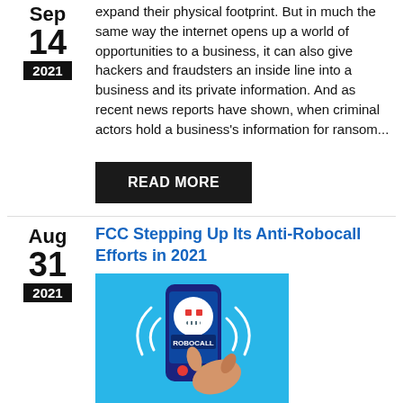expand their physical footprint. But in much the same way the internet opens up a world of opportunities to a business, it can also give hackers and fraudsters an inside line into a business and its private information. And as recent news reports have shown, when criminal actors hold a business's information for ransom...
READ MORE
FCC Stepping Up Its Anti-Robocall Efforts in 2021
[Figure (illustration): Illustration of a hand holding a smartphone displaying a robocall screen with a robot icon and the word ROBOCALL, with curved sound/signal lines around the phone, on a light blue background.]